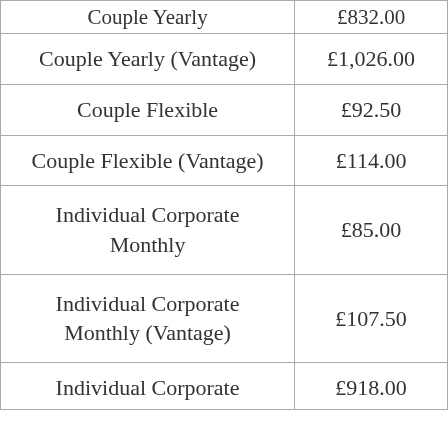| Plan | Price |
| --- | --- |
| Couple Yearly | £832.00 |
| Couple Yearly (Vantage) | £1,026.00 |
| Couple Flexible | £92.50 |
| Couple Flexible (Vantage) | £114.00 |
| Individual Corporate Monthly | £85.00 |
| Individual Corporate Monthly (Vantage) | £107.50 |
| Individual Corporate | £918.00 |